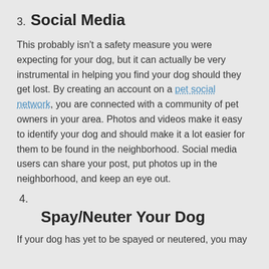3. Social Media
This probably isn’t a safety measure you were expecting for your dog, but it can actually be very instrumental in helping you find your dog should they get lost. By creating an account on a pet social network, you are connected with a community of pet owners in your area. Photos and videos make it easy to identify your dog and should make it a lot easier for them to be found in the neighborhood. Social media users can share your post, put photos up in the neighborhood, and keep an eye out.
4.
Spay/Neuter Your Dog
If your dog has yet to be spayed or neutered, you may